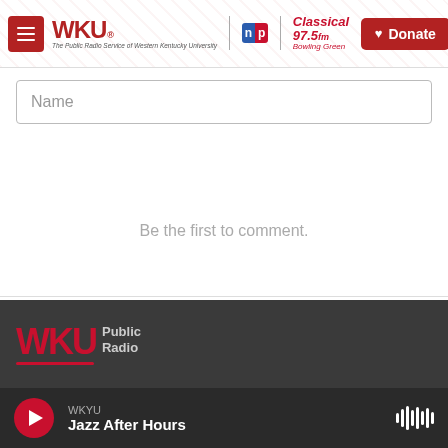WKU | npr | Classical 97.5 fm Bowling Green — The Public Radio Service of Western Kentucky University | Donate
Name
Be the first to comment.
Subscribe  Add Disqus  Do Not Sell My Data  DISQUS
[Figure (logo): WKU Public Radio logo in dark footer]
WKYU
Jazz After Hours